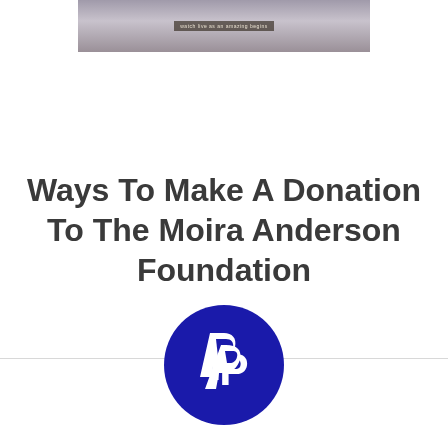[Figure (photo): Partial photo of a person with a banner overlay containing small text, appearing blurred/cropped at top of page]
Ways To Make A Donation To The Moira Anderson Foundation
[Figure (logo): PayPal logo — white stylized double-P mark on a dark navy/blue circle]